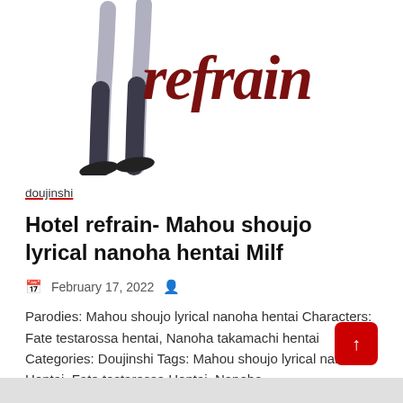[Figure (illustration): Partial illustration showing legs/shoes of an anime character with the stylized italic text 'refrain' in dark red/maroon overlaid]
doujinshi
Hotel refrain- Mahou shoujo lyrical nanoha hentai Milf
February 17, 2022
Parodies: Mahou shoujo lyrical nanoha hentai Characters: Fate testarossa hentai, Nanoha takamachi hentai Categories: Doujinshi Tags: Mahou shoujo lyrical nanoha Hentai, Fate testarossa Hentai, Nanoha
Read More